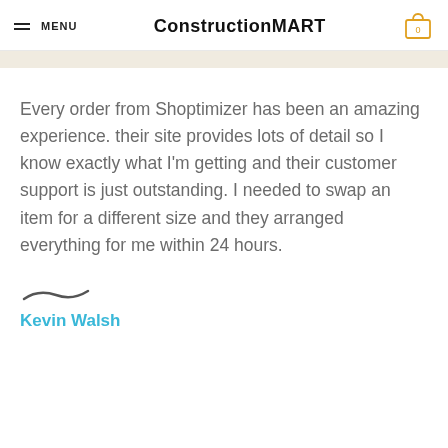MENU | ConstructionMART
Every order from Shoptimizer has been an amazing experience. their site provides lots of detail so I know exactly what I'm getting and their customer support is just outstanding. I needed to swap an item for a different size and they arranged everything for me within 24 hours.
Kevin Walsh